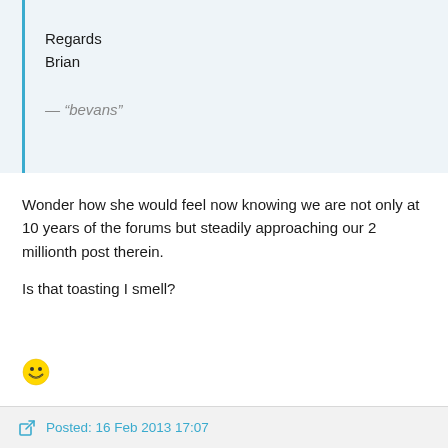Regards
Brian
— “bevans”
Wonder how she would feel now knowing we are not only at 10 years of the forums but steadily approaching our 2 millionth post therein.

Is that toasting I smell?
[Figure (illustration): Grinning smiley face emoji]
Posted: 16 Feb 2013 17:07